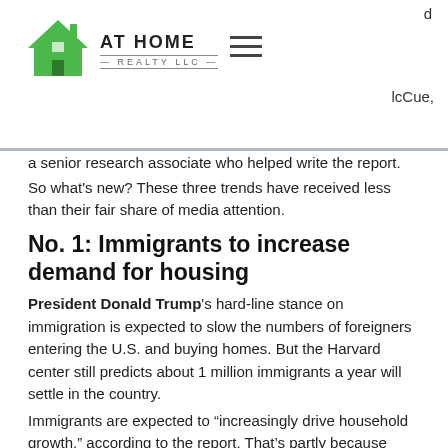[Figure (logo): At Home Realty LLC logo with green house icon]
a senior research associate who helped write the report.
So what's new? These three trends have received less than their fair share of media attention.
No. 1: Immigrants to increase demand for housing
President Donald Trump's hard-line stance on immigration is expected to slow the numbers of foreigners entering the U.S. and buying homes. But the Harvard center still predicts about 1 million immigrants a year will settle in the country.
Immigrants are expected to “increasingly drive household growth,” according to the report. That’s partly because many U.S.-born millennials are delaying getting